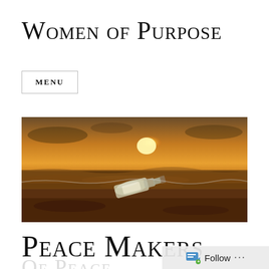Women of Purpose
MENU
[Figure (photo): A glass bottle with a rolled paper message inside, lying on a beach at sunset with warm orange and golden light reflecting off wet sand and gentle ocean waves in the background.]
Peace Makers
Of Peace
Follow ...